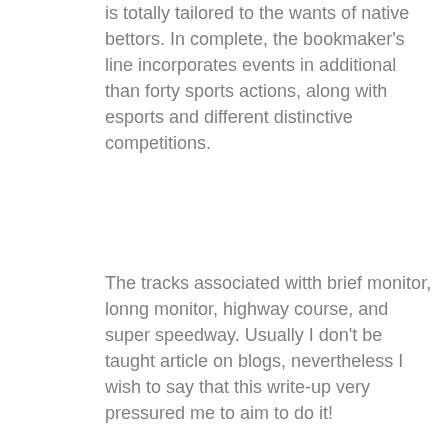is totally tailored to the wants of native bettors. In complete, the bookmaker's line incorporates events in additional than forty sports actions, along with esports and different distinctive competitions.
The tracks associated witth brief monitor, lonng monitor, highway course, and super speedway. Usually I don't be taught article on blogs, nevertheless I wish to say that this write-up very pressured me to aim to do it!
Realize that this means you could try to find worse gamers whereas bettering your sport on the equal time. Just like blackjack, you'll find a variety of books which will permit you to play successful poker. In addition to this, the cell app for iOS devices has a chunk with statistics and TV contacts. Thus, in case you could have the chance to acquire the application, use it to position bets